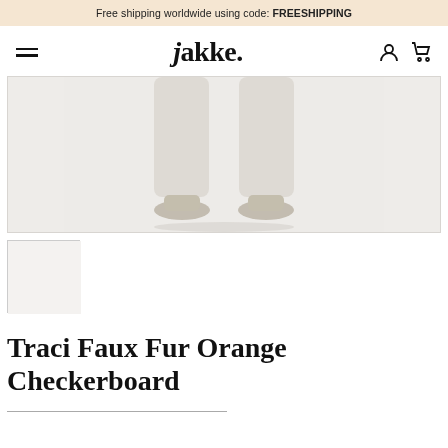Free shipping worldwide using code: FREESHIPPING
jakke.
[Figure (photo): Lower half of a model wearing cream/white wide-leg trousers and silver open-toe heeled sandals, on a white background]
[Figure (photo): Small thumbnail image placeholder showing the same product]
Traci Faux Fur Orange Checkerboard